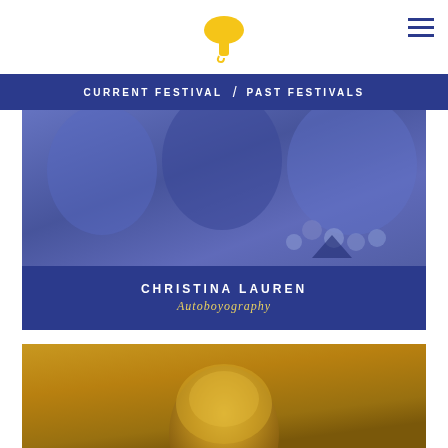[Figure (logo): Yellow mushroom-shaped logo icon]
CURRENT FESTIVAL / PAST FESTIVALS
[Figure (photo): Blue-tinted photo of people with jewelry/necklaces visible, card for Christina Lauren's Autoboyography]
CHRISTINA LAUREN
Autoboyography
[Figure (photo): Gold-tinted photo showing top of a person's head with blonde hair]